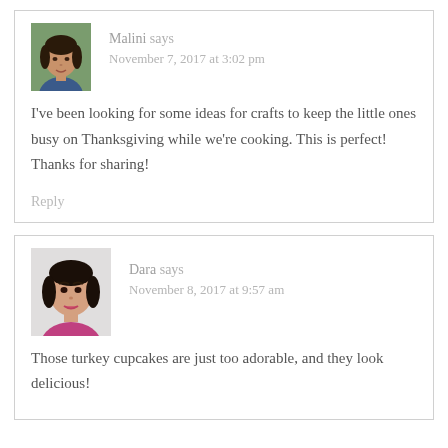[Figure (photo): Avatar photo of Malini, a woman with dark hair outdoors]
Malini says
November 7, 2017 at 3:02 pm
I've been looking for some ideas for crafts to keep the little ones busy on Thanksgiving while we're cooking. This is perfect! Thanks for sharing!
Reply
[Figure (photo): Avatar photo of Dara, a woman with dark hair wearing a pink/magenta top]
Dara says
November 8, 2017 at 9:57 am
Those turkey cupcakes are just too adorable, and they look delicious!